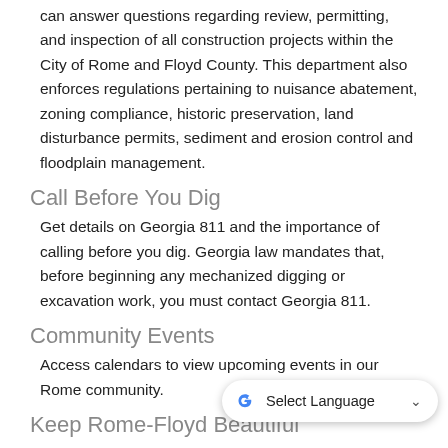can answer questions regarding review, permitting, and inspection of all construction projects within the City of Rome and Floyd County. This department also enforces regulations pertaining to nuisance abatement, zoning compliance, historic preservation, land disturbance permits, sediment and erosion control and floodplain management.
Call Before You Dig
Get details on Georgia 811 and the importance of calling before you dig. Georgia law mandates that, before beginning any mechanized digging or excavation work, you must contact Georgia 811.
Community Events
Access calendars to view upcoming events in our Rome community.
Keep Rome-Floyd Beautiful
Learn how you can help Rome achieve a cleaner and more beautiful community through education